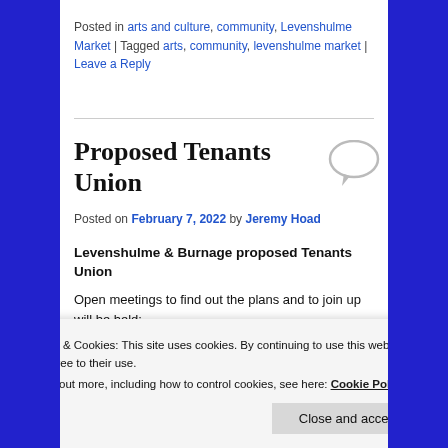Posted in arts and culture, community, Levenshulme Market | Tagged arts, community, levenshulme market | Leave a Reply
Proposed Tenants Union
Posted on February 7, 2022 by Jeremy Hoad
Levenshulme & Burnage proposed Tenants Union
Open meetings to find out the plans and to join up will be held:
Privacy & Cookies: This site uses cookies. By continuing to use this website, you agree to their use. To find out more, including how to control cookies, see here: Cookie Policy
Close and accept
Organised by Greater Manchester Tenants Union (part of)